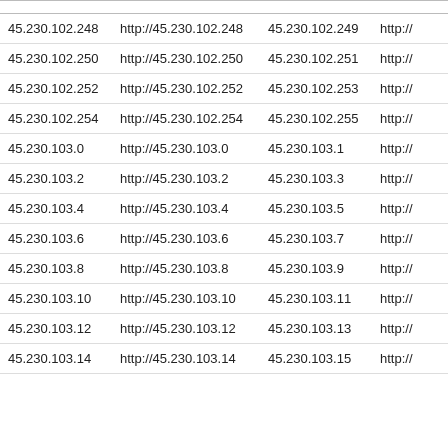| IP Address | URL | IP Address | URL |
| --- | --- | --- | --- |
| 45.230.102.248 | http://45.230.102.248 | 45.230.102.249 | http:// |
| 45.230.102.250 | http://45.230.102.250 | 45.230.102.251 | http:// |
| 45.230.102.252 | http://45.230.102.252 | 45.230.102.253 | http:// |
| 45.230.102.254 | http://45.230.102.254 | 45.230.102.255 | http:// |
| 45.230.103.0 | http://45.230.103.0 | 45.230.103.1 | http:// |
| 45.230.103.2 | http://45.230.103.2 | 45.230.103.3 | http:// |
| 45.230.103.4 | http://45.230.103.4 | 45.230.103.5 | http:// |
| 45.230.103.6 | http://45.230.103.6 | 45.230.103.7 | http:// |
| 45.230.103.8 | http://45.230.103.8 | 45.230.103.9 | http:// |
| 45.230.103.10 | http://45.230.103.10 | 45.230.103.11 | http:// |
| 45.230.103.12 | http://45.230.103.12 | 45.230.103.13 | http:// |
| 45.230.103.14 | http://45.230.103.14 | 45.230.103.15 | http:// |